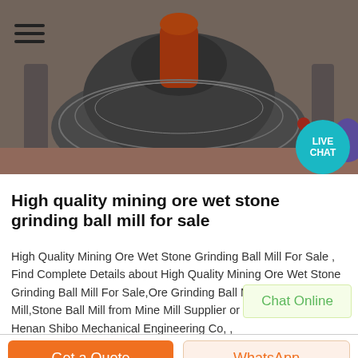[Figure (photo): Industrial ball mill / grinding machine photographed from above at an industrial site, showing heavy machinery with metal components.]
High quality mining ore wet stone grinding ball mill for sale
High Quality Mining Ore Wet Stone Grinding Ball Mill For Sale , Find Complete Details about High Quality Mining Ore Wet Stone Grinding Ball Mill For Sale,Ore Grinding Ball Mill,Wet Grinding Mill,Stone Ball Mill from Mine Mill Supplier or Manufacturer-Henan Shibo Mechanical Engineering Co, ,